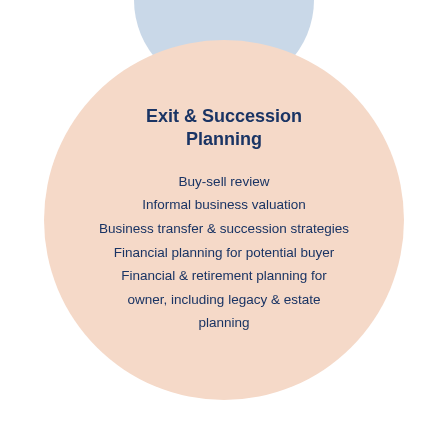[Figure (infographic): A large peach/salmon colored circle containing a title 'Exit & Succession Planning' in bold dark navy and a list of services. A partial light blue circle is visible at the top behind the main circle.]
Exit & Succession Planning
Buy-sell review
Informal business valuation
Business transfer & succession strategies
Financial planning for potential buyer
Financial & retirement planning for owner, including legacy & estate planning